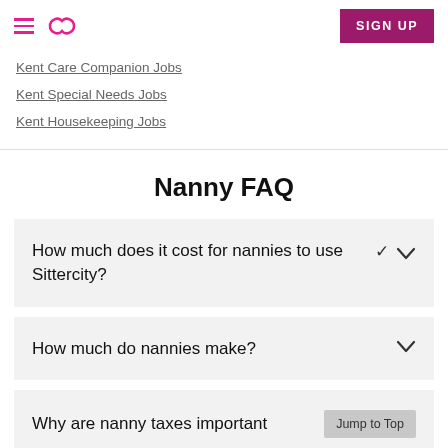≡ ∞ SIGN UP
Kent Care Companion Jobs
Kent Special Needs Jobs
Kent Housekeeping Jobs
Nanny FAQ
How much does it cost for nannies to use Sittercity?
How much do nannies make?
Why are nanny taxes important